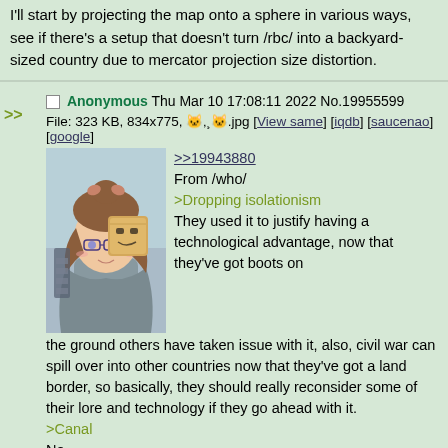I'll start by projecting the map onto a sphere in various ways, see if there's a setup that doesn't turn /rbc/ into a backyard-sized country due to mercator projection size distortion.
Anonymous Thu Mar 10 17:08:11 2022 No.19955599
File: 323 KB, 834x775, 🐱.jpg [View same] [iqdb] [saucenao] [google]
[Figure (illustration): Anime girl with brown hair and glasses, holding a cardboard box character]
>>19943880
From /who/
>Dropping isolationism
They used it to justify having a technological advantage, now that they've got boots on the ground others have taken issue with it, also, civil war can spill over into other countries now that they've got a land border, so basically, they should really reconsider some of their lore and technology if they go ahead with it.
>Canal
No.
>West Island
No.